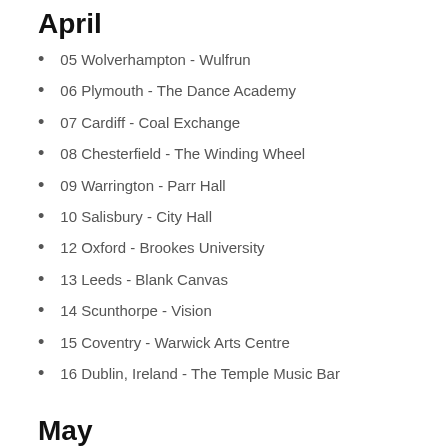April
05 Wolverhampton - Wulfrun
06 Plymouth - The Dance Academy
07 Cardiff - Coal Exchange
08 Chesterfield - The Winding Wheel
09 Warrington - Parr Hall
10 Salisbury - City Hall
12 Oxford - Brookes University
13 Leeds - Blank Canvas
14 Scunthorpe - Vision
15 Coventry - Warwick Arts Centre
16 Dublin, Ireland - The Temple Music Bar
May